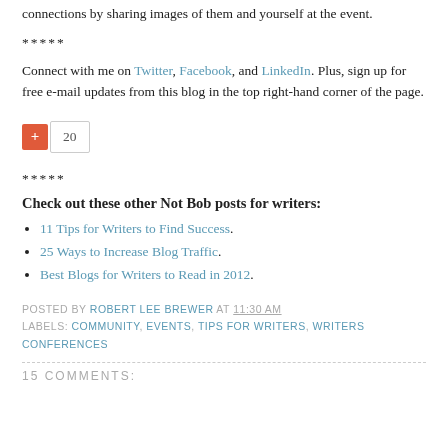connections by sharing images of them and yourself at the event.
*****
Connect with me on Twitter, Facebook, and LinkedIn. Plus, sign up for free e-mail updates from this blog in the top right-hand corner of the page.
[Figure (other): Google +1 button showing count of 20]
*****
Check out these other Not Bob posts for writers:
11 Tips for Writers to Find Success.
25 Ways to Increase Blog Traffic.
Best Blogs for Writers to Read in 2012.
POSTED BY ROBERT LEE BREWER AT 11:30 AM
LABELS: COMMUNITY, EVENTS, TIPS FOR WRITERS, WRITERS CONFERENCES
15 COMMENTS: